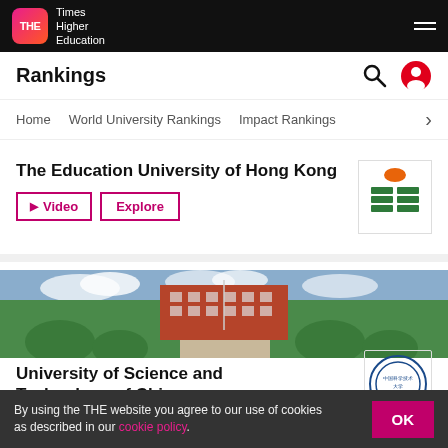THE Times Higher Education
Rankings
Home   World University Rankings   Impact Rankings
The Education University of Hong Kong
▶ Video   Explore
[Figure (logo): The Education University of Hong Kong logo — green stacked book/leaf shapes with orange oval]
[Figure (photo): University campus photo showing a red brick building surrounded by green trees and manicured hedges]
University of Science and Technology of China
[Figure (logo): University of Science and Technology of China circular seal logo]
By using the THE website you agree to our use of cookies as described in our cookie policy.